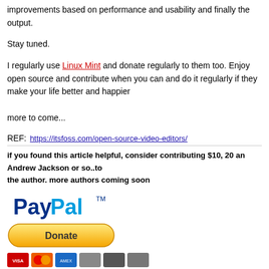improvements based on performance and usability and finally the output.
Stay tuned.
I regularly use Linux Mint and donate regularly to them too. Enjoy open source and contribute when you can and do it regularly if they make your life better and happier
more to come...
REF:   https://itsfoss.com/open-source-video-editors/
if you found this article helpful, consider contributing $10, 20 an Andrew Jackson or so..to the author. more authors coming soon
[Figure (logo): PayPal logo with Donate button and payment card icons]